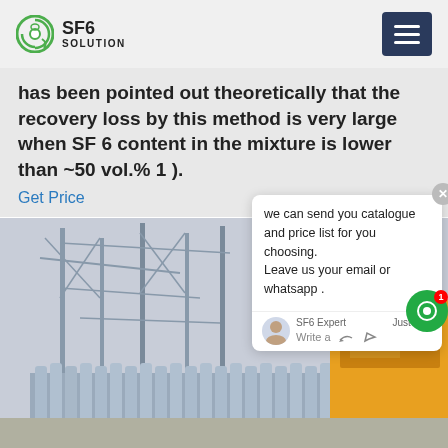SF6 SOLUTION
has been pointed out theoretically that the recovery loss by this method is very large when SF 6 content in the mixture is lower than ~50 vol.% 1 ).
Get Price
[Figure (photo): Industrial electrical substation with steel transmission towers and gas cylinders in foreground; an ISUZU yellow truck visible on the right side.]
we can send you catalogue and price list for you choosing.
Leave us your email or whatsapp .

SF6 Expert    Just now
Write a